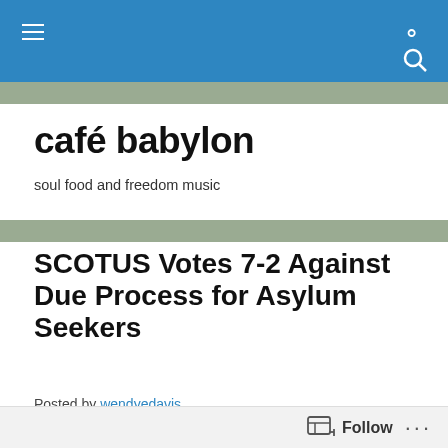café babylon — soul food and freedom music
SCOTUS Votes 7-2 Against Due Process for Asylum Seekers
Posted by wendyedavis
[Figure (photo): Photograph of the top of a neoclassical courthouse building (Supreme Court) against a blue sky, showing ornate stone cornice and columns]
Follow ...